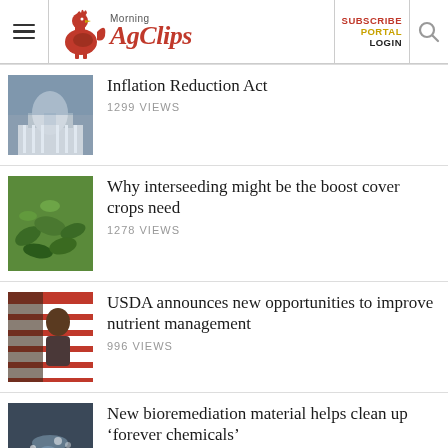Morning AgClips — SUBSCRIBE PORTAL LOGIN
Inflation Reduction Act — 1299 VIEWS
Why interseeding might be the boost cover crops need — 1278 VIEWS
USDA announces new opportunities to improve nutrient management — 996 VIEWS
New bioremediation material helps clean up ‘forever chemicals’ — 1467 VIEWS